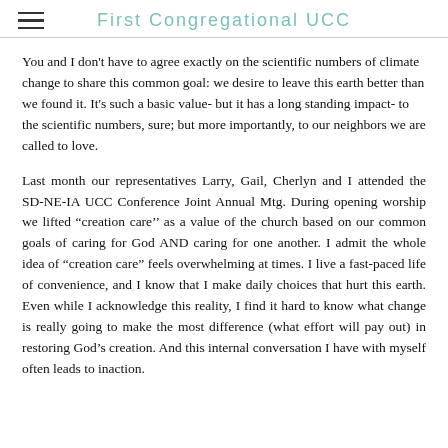First Congregational UCC
You and I don't have to agree exactly on the scientific numbers of climate change to share this common goal: we desire to leave this earth better than we found it. It's such a basic value- but it has a long standing impact- to the scientific numbers, sure; but more importantly, to our neighbors we are called to love.
Last month our representatives Larry, Gail, Cherlyn and I attended the SD-NE-IA UCC Conference Joint Annual Mtg. During opening worship we lifted “creation care” as a value of the church based on our common goals of caring for God AND caring for one another. I admit the whole idea of “creation care” feels overwhelming at times. I live a fast-paced life of convenience, and I know that I make daily choices that hurt this earth. Even while I acknowledge this reality, I find it hard to know what change is really going to make the most difference (what effort will pay out) in restoring God’s creation. And this internal conversation I have with myself often leads to inaction.